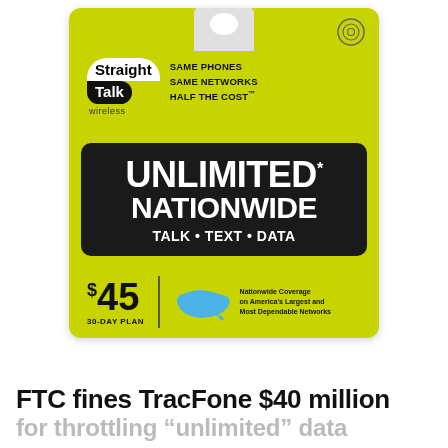[Figure (photo): Straight Talk Wireless prepaid card showing 'UNLIMITED NATIONWIDE TALK • TEXT • DATA' $45 30-Day Plan with a map of the US and tagline 'Same Phones Same Networks Half The Cost']
FTC fines TracFone $40 million
for throttling “unlimited” data